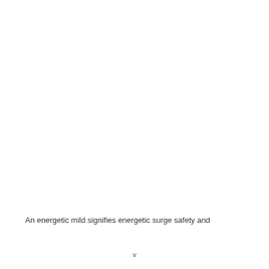An energetic mild signifies energetic surge safety and
v